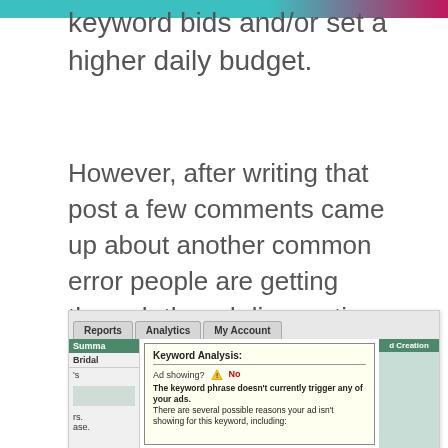keyword bids and/or set a higher daily budget.
However, after writing that post a few comments came up about another common error people are getting through the ad diagnostics tool on why their ads may not be displaying. The error is this:
[Figure (screenshot): Screenshot of Google AdWords interface showing tabs: Reports, Analytics, My Account. A Keyword Analysis popup dialog is open showing: Ad showing? [warning icon] No — The keyword phrase doesn't currently trigger any of your ads. There are several possible reasons your ad isn't showing for this keyword, including:]